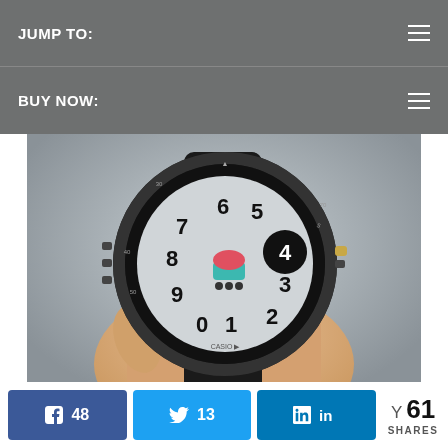JUMP TO:
BUY NOW:
[Figure (photo): A hand holding a round black smartwatch with a digital watch face showing numbers 0-9 arranged in a circular pattern, a cupcake icon, and the number 4 prominently displayed in a dark circle. The watch has a dark rubber/carbon fiber strap and a gold button on the right side.]
However, the watch is smart enough that once you've entered in your pin it'll save it for 24 hours as long as you don't take the watch off your wrist. In other words — the same as Apple or Fitbit. You can